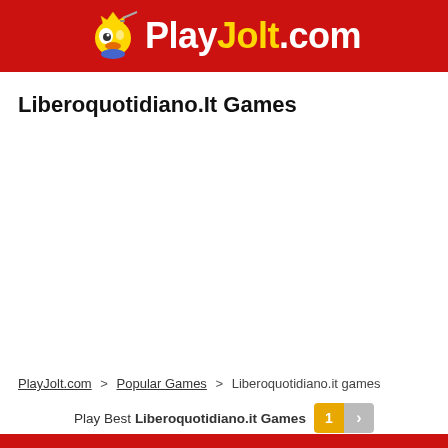PlayJolt.com
Liberoquotidiano.It Games
PlayJolt.com > Popular Games > Liberoquotidiano.it games
Play Best Liberoquotidiano.it Games 1 >